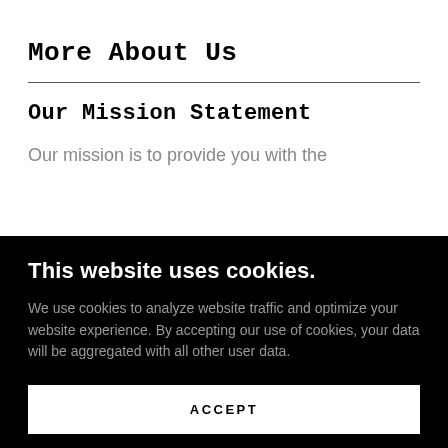More About Us
Our Mission Statement
Our mission is to provide you with the
This website uses cookies.
We use cookies to analyze website traffic and optimize your website experience. By accepting our use of cookies, your data will be aggregated with all other user data.
ACCEPT